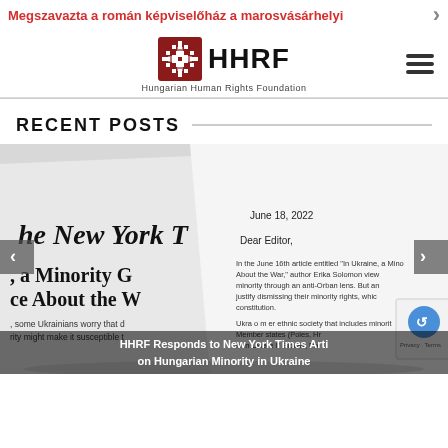Megszavazta a román képviselőház a marosvásárhelyi
[Figure (logo): HHRF Hungarian Human Rights Foundation logo with decorative black square emblem and hamburger menu icon]
RECENT POSTS
[Figure (photo): Composite image showing New York Times newspaper and a letter dated June 18, 2022 addressed to Dear Editor, referencing an article titled 'In Ukraine, a Minority Group About the War']
HHRF Responds to New York Times Article on Hungarian Minority in Ukraine